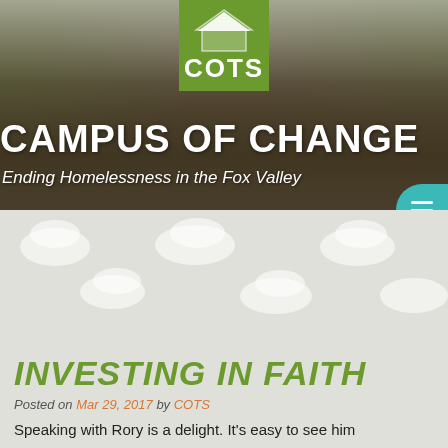[Figure (photo): Website screenshot showing COTS (Campus of Change) organization page. Top section shows a hero image of volunteers doing outdoor work (raking leaves/mulch) with a green COTS logo box at top center. 'CAMPUS OF CHANGE' is displayed in large white bold text over the photo, with subtitle 'Ending Homelessness in the Fox Valley'. Below is a light gray background with cloud shapes, then article content.]
INVESTING IN FAITH
Posted on Mar 29, 2017 by COTS
Speaking with Rory is a delight. It's easy to see him